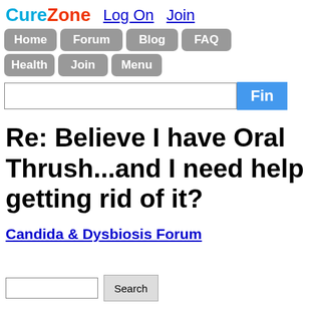CureZone  Log On  Join
Home  Forum  Blog  FAQ  Health  Join  Menu
Re: Believe I have Oral Thrush...and I need help getting rid of it?
Candida & Dysbiosis Forum